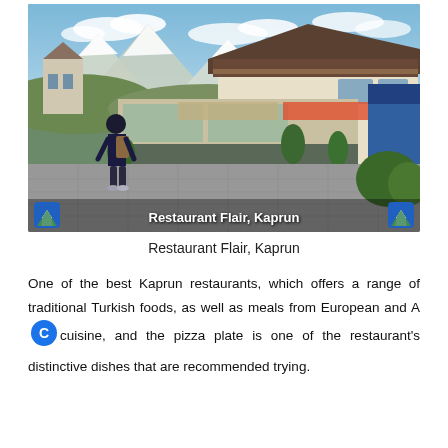[Figure (photo): Outdoor street-level photo of Restaurant Flair in Kaprun, Austria. A person with a backpack walks toward the restaurant. The building has a traditional Alpine-style roof with wooden beams and balcony. Snow-capped mountains are visible in the background. A logo icon (mountain/lake) appears in the bottom-left and bottom-right corners overlaid on the image, with bold white text reading 'Restaurant Flair, Kaprun' centered in the lower portion.]
Restaurant Flair, Kaprun
One of the best Kaprun restaurants, which offers a range of traditional Turkish foods, as well as meals from European and American cuisine, and the pizza plate is one of the restaurant's distinctive dishes that are recommended trying.